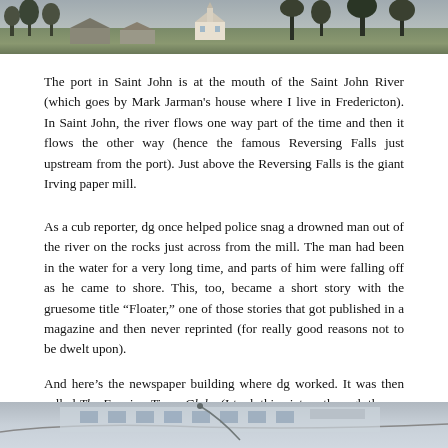[Figure (photo): Aerial or elevated view of a town with trees and a white house/church visible, taken in winter or late autumn.]
The port in Saint John is at the mouth of the Saint John River (which goes by Mark Jarman's house where I live in Fredericton). In Saint John, the river flows one way part of the time and then it flows the other way (hence the famous Reversing Falls just upstream from the port). Just above the Reversing Falls is the giant Irving paper mill.
As a cub reporter, dg once helped police snag a drowned man out of the river on the rocks just across from the mill. The man had been in the water for a very long time, and parts of him were falling off as he came to shore. This, too, became a short story with the gruesome title “Floater,” one of those stories that got published in a magazine and then never reprinted (for really good reasons not to be dwelt upon).
And here’s the newspaper building where dg worked. It was then called The Evening-Times Globe (I took this picture through the car window at a stop light — a noble genre).
[Figure (photo): Partial view of a building exterior, described as the newspaper building formerly called The Evening-Times Globe, photographed through a car window at a stop light.]